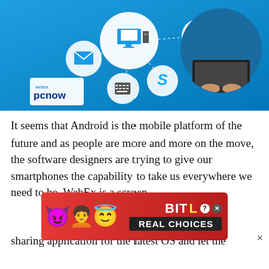[Figure (illustration): WebEx PCNow promotional banner image showing a blue background with connected icons including a desktop computer, envelope, calendar/keyboard, Skype logo, and circular badges. A person typing on a laptop is shown in the top right. The WebEx PCNow logo appears in the bottom left and as a badge in the upper center.]
It seems that Android is the mobile platform of the future and as people are more and more on the move, the software designers are trying to give our smartphones the capability to take us everywhere we need to be. WebEx is a screen
[Figure (illustration): BitLife advertisement banner with red background showing emoji characters (devil, angel girl, winking face with halo, and a sperm emoji) alongside the BitLife logo in yellow and white text, with 'REAL CHOICES' in a dark box below.]